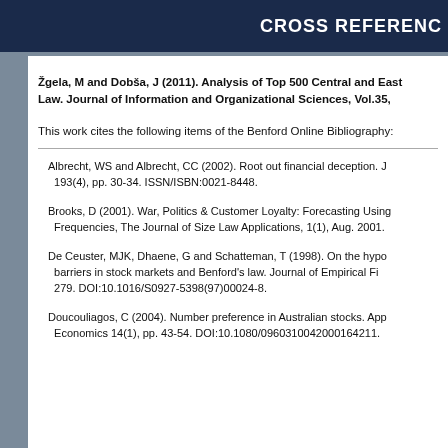CROSS REFERENCE
Žgela, M and Dobša, J (2011). Analysis of Top 500 Central and East Law. Journal of Information and Organizational Sciences, Vol.35,
This work cites the following items of the Benford Online Bibliography:
Albrecht, WS and Albrecht, CC (2002). Root out financial deception. J 193(4), pp. 30-34. ISSN/ISBN:0021-8448.
Brooks, D (2001). War, Politics & Customer Loyalty: Forecasting Using Frequencies, The Journal of Size Law Applications, 1(1), Aug. 2001.
De Ceuster, MJK, Dhaene, G and Schatteman, T (1998). On the hypo barriers in stock markets and Benford's law. Journal of Empirical Fi 279. DOI:10.1016/S0927-5398(97)00024-8.
Doucouliagos, C (2004). Number preference in Australian stocks. App Economics 14(1), pp. 43-54. DOI:10.1080/0960310042000164211.